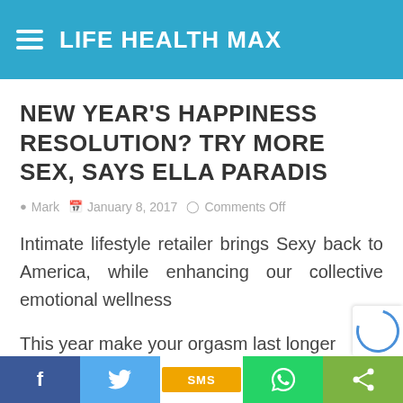LIFE HEALTH MAX
NEW YEAR'S HAPPINESS RESOLUTION? TRY MORE SEX, SAYS ELLA PARADIS
Mark  January 8, 2017  Comments Off
Intimate lifestyle retailer brings Sexy back to America, while enhancing our collective emotional wellness
This year make your orgasm last longer